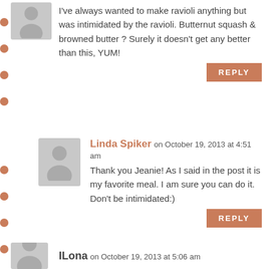[Figure (illustration): Gray avatar placeholder icon partially visible at top left]
I've always wanted to make ravioli anything but was intimidated by the ravioli. Butternut squash & browned butter ? Surely it doesn't get any better than this, YUM!
REPLY
[Figure (illustration): Gray avatar placeholder icon for Linda Spiker]
Linda Spiker on October 19, 2013 at 4:51 am
Thank you Jeanie! As I said in the post it is my favorite meal. I am sure you can do it. Don't be intimidated:)
REPLY
[Figure (illustration): Gray avatar placeholder icon for ILona]
ILona on October 19, 2013 at 5:06 am